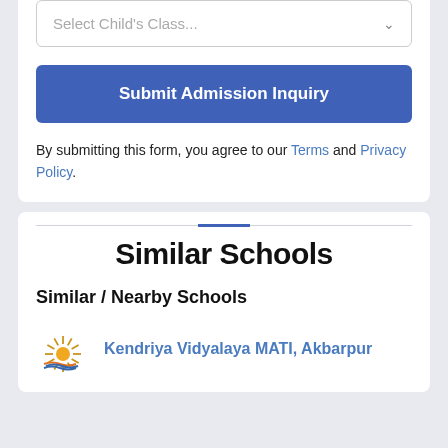Select Child's Class...
Submit Admission Inquiry
By submitting this form, you agree to our Terms and Privacy Policy.
Similar Schools
Similar / Nearby Schools
Kendriya Vidyalaya MATI, Akbarpur